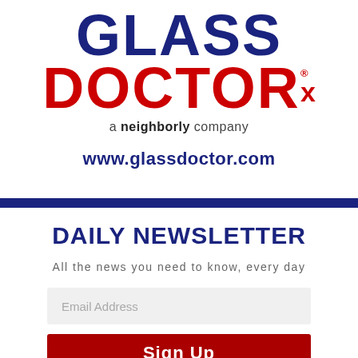[Figure (logo): Glass Doctor logo with dark blue GLASS text and red DOCTOR with Rx mark, registered trademark symbol]
a neighborly company
www.glassdoctor.com
DAILY NEWSLETTER
All the news you need to know, every day
Email Address
Sign Up